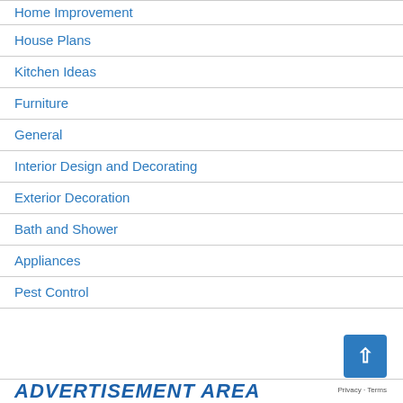Home Improvement
House Plans
Kitchen Ideas
Furniture
General
Interior Design and Decorating
Exterior Decoration
Bath and Shower
Appliances
Pest Control
ADVERTISEMENT AREA